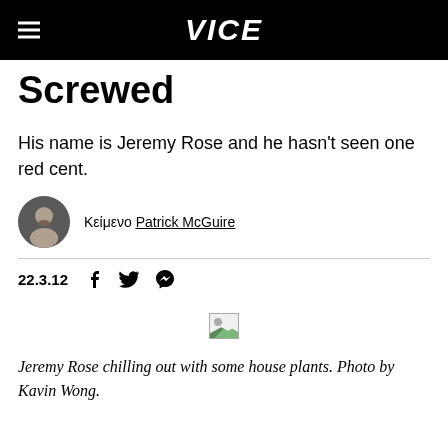VICE
Screwed
His name is Jeremy Rose and he hasn't seen one red cent.
Κείμενο Patrick McGuire
22.3.12
[Figure (photo): Broken image placeholder icon]
Jeremy Rose chilling out with some house plants. Photo by Kavin Wong.